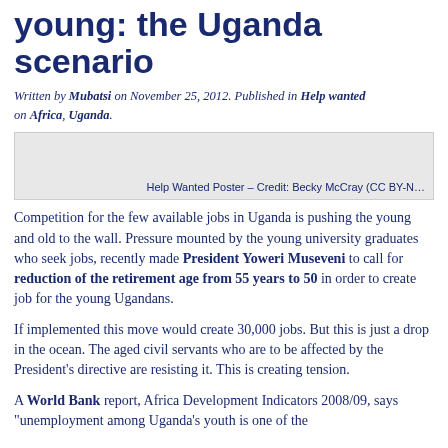young: the Uganda scenario
Written by Mubatsi on November 25, 2012. Published in Help wanted on Africa, Uganda.
[Figure (photo): Help Wanted Poster image placeholder with caption]
Help Wanted Poster – Credit: Becky McCray (CC BY-N…
Competition for the few available jobs in Uganda is pushing the young and old to the wall. Pressure mounted by the young university graduates who seek jobs, recently made President Yoweri Museveni to call for reduction of the retirement age from 55 years to 50 in order to create job for the young Ugandans.
If implemented this move would create 30,000 jobs. But this is just a drop in the ocean. The aged civil servants who are to be affected by the President's directive are resisting it. This is creating tension.
A World Bank report, Africa Development Indicators 2008/09, says "unemployment among Uganda's youth is one of the